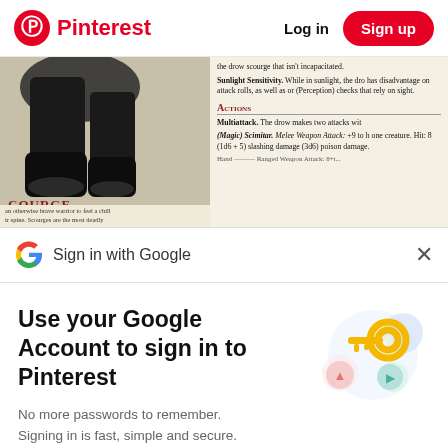Pinterest | Log in | Sign up
[Figure (screenshot): Partially visible D&D monster stat block page showing a drow scourge illustration and game stats including Sunlight Sensitivity, Actions, Multiattack, and Magic Scimitar entries on a parchment-colored background]
Sign in with Google
Use your Google Account to sign in to Pinterest
No more passwords to remember. Signing in is fast, simple and secure.
Continue